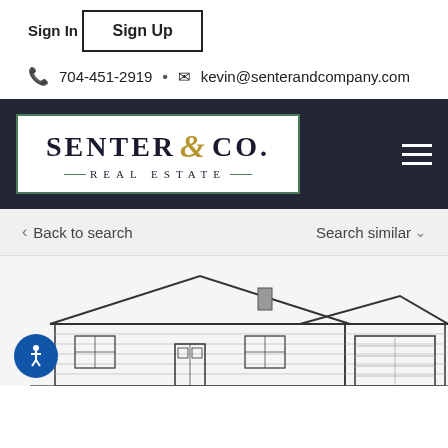Sign In
Sign Up
704-451-2919 • kevin@senterandcompany.com
[Figure (logo): Senter & Co. Real Estate logo in a white box with green border]
Back to search
Search similar
[Figure (illustration): Architectural line drawing of a single-story house with attached garage, front elevation view, showing roof, windows, and door details.]